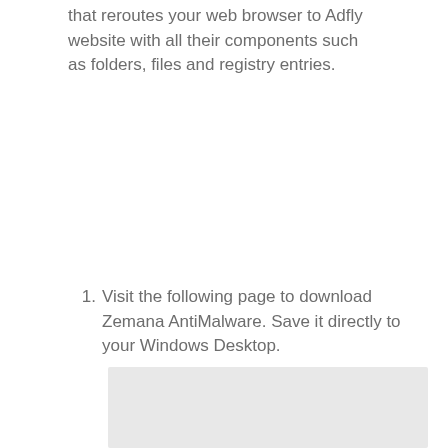that reroutes your web browser to Adfly website with all their components such as folders, files and registry entries.
Visit the following page to download Zemana AntiMalware. Save it directly to your Windows Desktop.
[Figure (screenshot): Screenshot placeholder image with light gray background]